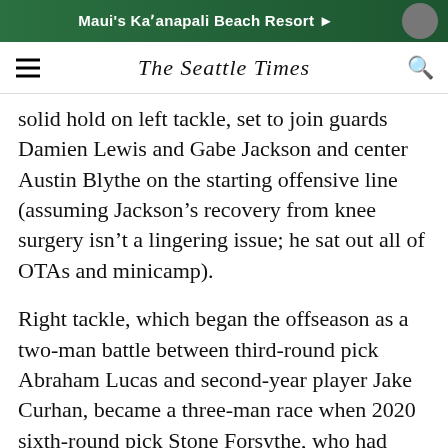[Figure (other): Advertisement banner for Maui's Ka'anapali Beach Resort with green background and white text]
The Seattle Times
solid hold on left tackle, set to join guards Damien Lewis and Gabe Jackson and center Austin Blythe on the starting offensive line (assuming Jackson's recovery from knee surgery isn't a lingering issue; he sat out all of OTAs and minicamp).
Right tackle, which began the offseason as a two-man battle between third-round pick Abraham Lucas and second-year player Jake Curhan, became a three-man race when 2020 sixth-round pick Stone Forsythe, who had been playing almost solely on the left side, was thrown in the mix.
ADVERTISING
[Figure (other): Advertisement banner with black background and green text reading PICK WINNERS]